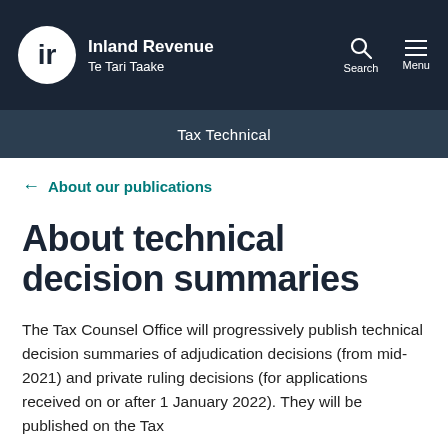Inland Revenue Te Tari Taake
Tax Technical
← About our publications
About technical decision summaries
The Tax Counsel Office will progressively publish technical decision summaries of adjudication decisions (from mid-2021) and private ruling decisions (for applications received on or after 1 January 2022). They will be published on the Tax